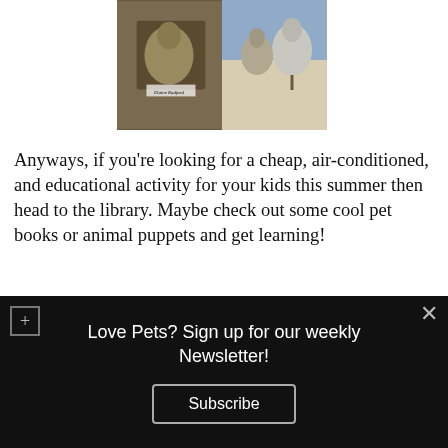[Figure (photo): Two side-by-side photos showing birds. Left photo shows birds on a perch with a caption 'Elaine Radford'. Right photo shows birds on a branch with a book in the background.]
Anyways, if you're looking for a cheap, air-conditioned, and educational activity for your kids this summer then head to the library. Maybe check out some cool pet books or animal puppets and get learning!
AnnStaub
Love Pets? Sign up for our weekly Newsletter! Subscribe